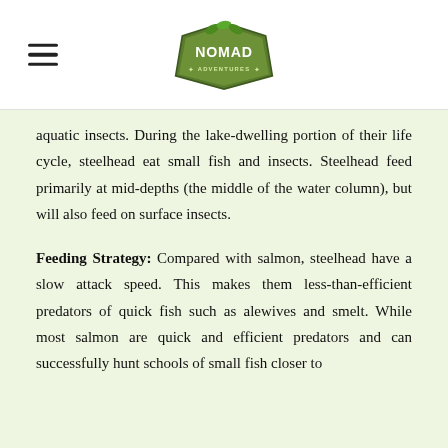NOMAD ADVENTURES
aquatic insects. During the lake-dwelling portion of their life cycle, steelhead eat small fish and insects. Steelhead feed primarily at mid-depths (the middle of the water column), but will also feed on surface insects.
Feeding Strategy: Compared with salmon, steelhead have a slow attack speed. This makes them less-than-efficient predators of quick fish such as alewives and smelt. While most salmon are quick and efficient predators and can successfully hunt schools of small fish closer to